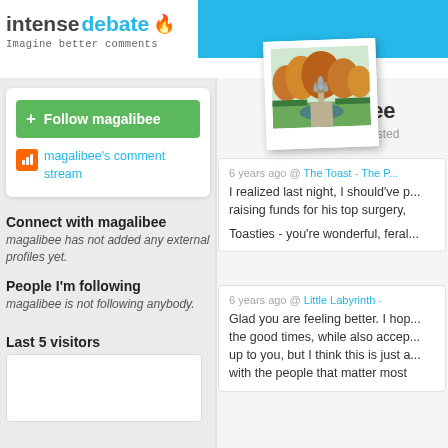intensedebate - Imagine better comments
[Figure (screenshot): IntenseDebate logo with flame icon and tagline 'Imagine better comments']
+ Follow magalibee
magalibee's comment stream
Connect with magalibee
magalibee has not added any external profiles yet.
People I'm following
magalibee is not following anybody.
Last 5 visitors
[Figure (photo): Polaroid-style photo of a garden with fountain and autumn trees]
magalibee
22 comments posted
6 years ago @ The Toast - The P...
I realized last night, I should've p... raising funds for his top surgery,
Toasties - you're wonderful, feral...
6 years ago @ Little Labyrinth -
Glad you are feeling better. I hop... the good times, while also accep... up to you, but I think this is just a... with the people that matter most